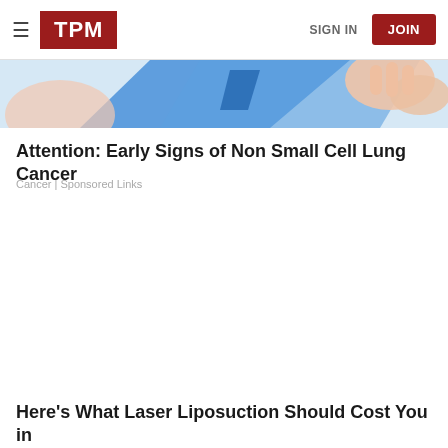TPM | SIGN IN | JOIN
[Figure (illustration): Partial cropped illustration showing hands/medical imagery with blue and skin-tone colors]
Attention: Early Signs of Non Small Cell Lung Cancer
Cancer | Sponsored Links
Here's What Laser Liposuction Should Cost You in